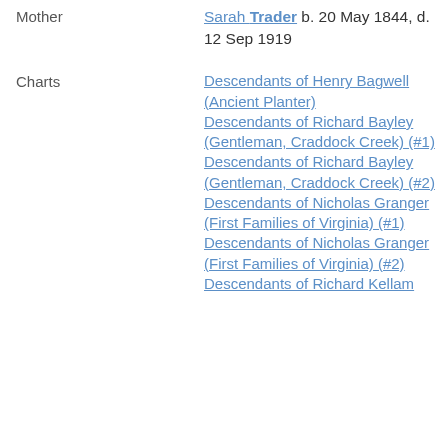Mother   Sarah Trader b. 20 May 1844, d. 12 Sep 1919
Charts
Descendants of Henry Bagwell (Ancient Planter)
Descendants of Richard Bayley (Gentleman, Craddock Creek) (#1)
Descendants of Richard Bayley (Gentleman, Craddock Creek) (#2)
Descendants of Nicholas Granger (First Families of Virginia) (#1)
Descendants of Nicholas Granger (First Families of Virginia) (#2)
Descendants of Richard Kellam